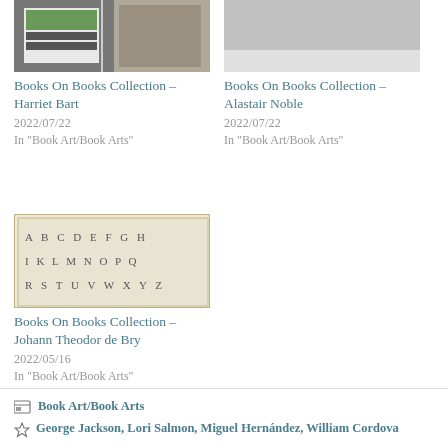[Figure (photo): Image for Books On Books Collection – Harriet Bart, showing a notebook with printed images]
Books On Books Collection – Harriet Bart
2022/07/22
In "Book Art/Book Arts"
[Figure (photo): Image for Books On Books Collection – Alastair Noble, light grey/white background]
Books On Books Collection – Alastair Noble
2022/07/22
In "Book Art/Book Arts"
[Figure (photo): Manuscript page showing decorative alphabet letters ABCDEFGH IKLMNOPOQ RSTUVWXYZ in ornate hand-drawn style]
Books On Books Collection – Johann Theodor de Bry
2022/05/16
In "Book Art/Book Arts"
Book Art/Book Arts
George Jackson, Lori Salmon, Miguel Hernández, William Cordova